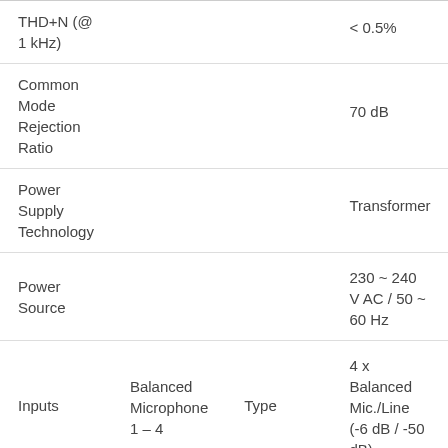| Parameter | Sub-parameter | Sub-type | Value |
| --- | --- | --- | --- |
| THD+N (@ 1 kHz) |  |  | < 0.5% |
| Common Mode Rejection Ratio |  |  | 70 dB |
| Power Supply Technology |  |  | Transformer |
| Power Source |  |  | 230 ~ 240 V AC / 50 ~ 60 Hz |
| Inputs | Balanced Microphone 1 – 4 | Type | 4 x Balanced Mic./Line (-6 dB / -50 dB) |
|  |  | Connector | 2 x XLR/Jack Combo & 2 x XLR |
|  |  |  | 4 x 15 V DC |